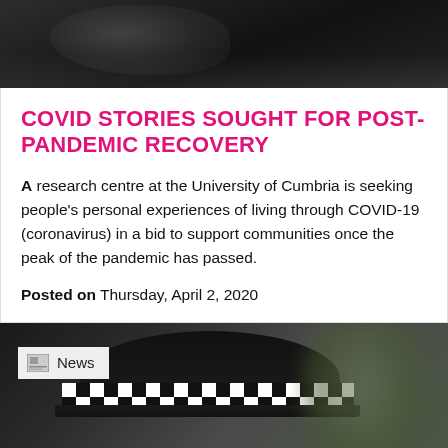[Figure (photo): Dark photo, partially visible hands against a dark background]
COVID STORIES SOUGHT FOR POST-PANDEMIC RECOVERY
A research centre at the University of Cumbria is seeking people's personal experiences of living through COVID-19 (coronavirus) in a bid to support communities once the peak of the pandemic has passed.
Posted on Thursday, April 2, 2020
[Figure (photo): Close-up photo of the back of a police officer's head wearing a checkered police hat, with a blurred green background. A 'News' badge/label is overlaid in the top-left of the image.]